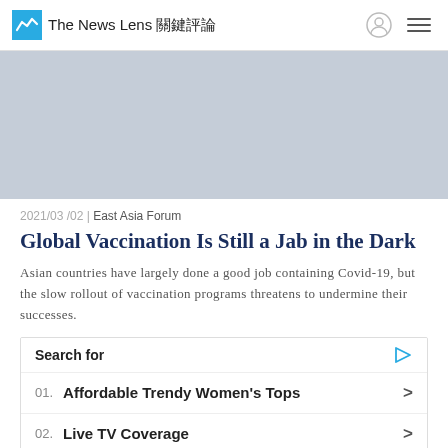The News Lens 關鍵評論
[Figure (photo): Gray placeholder image for article hero]
2021/03/02 | East Asia Forum
Global Vaccination Is Still a Jab in the Dark
Asian countries have largely done a good job containing Covid-19, but the slow rollout of vaccination programs threatens to undermine their successes.
Search for
01. Affordable Trendy Women's Tops
02. Live TV Coverage
Yahoo! Search | Sponsored